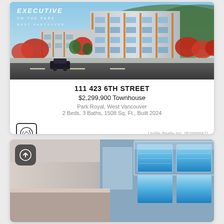[Figure (photo): Exterior rendering of Executive on the Park residential building in West Vancouver, showing a modern multi-story glass and concrete tower with autumn red trees and street scene]
111 423 6TH STREET
$2,299,900 Townhouse
Park Royal, West Vancouver
2 Beds, 3 Baths, 1508 Sq. Ft., Built 2024
Unilife Realty Inc. (R2688567)
[Figure (photo): Interior scene of a modern room with blue illuminated panels/screens on a wall, showing a sleek contemporary interior design]